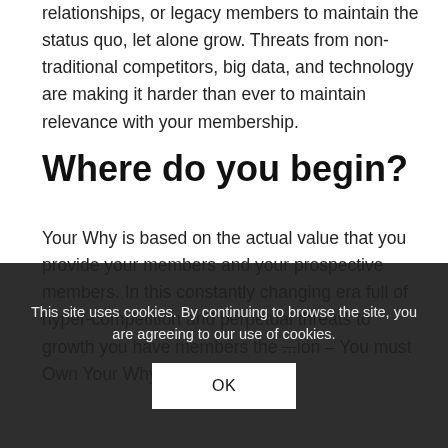relationships, or legacy members to maintain the status quo, let alone grow. Threats from non-traditional competitors, big data, and technology are making it harder than ever to maintain relevance with your membership.
Where do you begin?
Your Why is based on the actual value that you provide your members and your prospective members. In this constantly changing era full of hyper-competition and perpetual threats to growth you have members the ... ion – You must Own Your Why.
This site uses cookies. By continuing to browse the site, you are agreeing to our use of cookies.